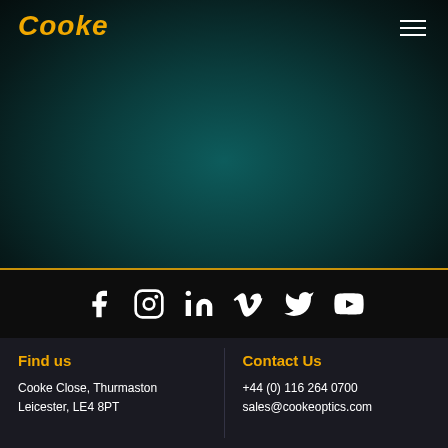[Figure (logo): Cooke Optics logo in gold/yellow cursive script font at top-left of dark teal gradient hero area]
[Figure (other): Hamburger menu icon (three horizontal white lines) at top-right]
[Figure (other): Social media icons bar on black background: Facebook, Instagram, LinkedIn, Vimeo, Twitter, YouTube — all white icons centered]
Find us
Cooke Close, Thurmaston
Leicester, LE4 8PT
Contact Us
+44 (0) 116 264 0700
sales@cookeoptics.com